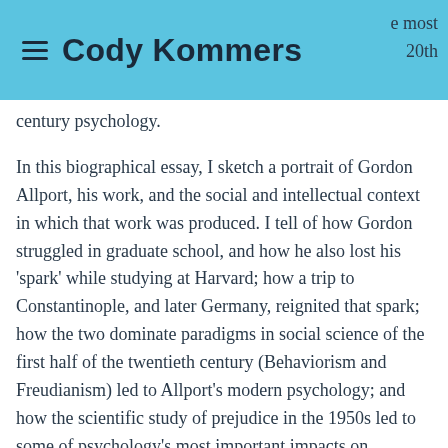Cody Kommers
…p… most 20th century psychology.
In this biographical essay, I sketch a portrait of Gordon Allport, his work, and the social and intellectual context in which that work was produced. I tell of how Gordon struggled in graduate school, and how he also lost his 'spark' while studying at Harvard; how a trip to Constantinople, and later Germany, reignited that spark; how the two dominate paradigms in social science of the first half of the twentieth century (Behaviorism and Freudianism) led to Allport's modern psychology; and how the scientific study of prejudice in the 1950s led to some of psychology's most important impacts on society. I explore Allport's remarkable